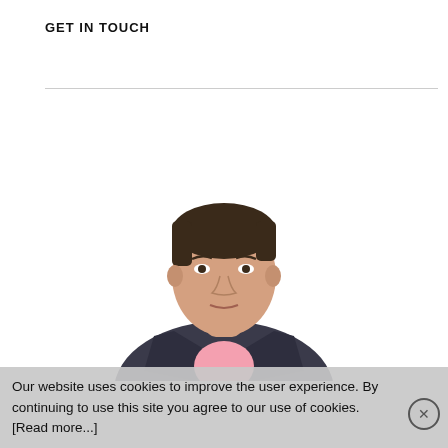GET IN TOUCH
[Figure (photo): Professional headshot of a man in a dark suit jacket and pink shirt, against a white background, looking directly at the camera.]
Our website uses cookies to improve the user experience. By continuing to use this site you agree to our use of cookies. [Read more...]